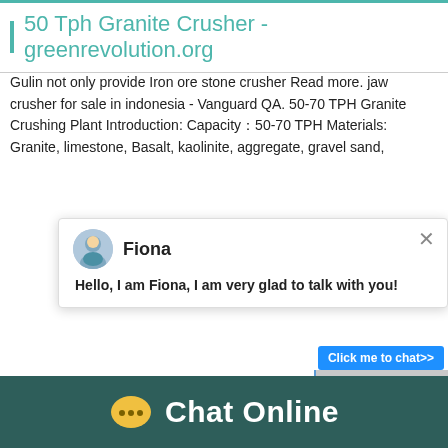50 Tph Granite Crusher - greenrevolution.org
Gulin not only provide Iron ore stone crusher Read more. jaw crusher for sale in indonesia - Vanguard QA. 50-70 TPH Granite Crushing Plant Introduction: Capacity：50-70 TPH Materials: Granite, limestone, Basalt, kaolinite, aggregate, gravel sand,
[Figure (screenshot): Chat popup with avatar of Fiona, with message: Hello, I am Fiona, I am very glad to talk with you!]
Processingmaterial:Bentonite,construction wa... Stone,coal
Capacity:154T/H
Finished product fineness:0-10mm，10-20mm...
[Figure (photo): Image of industrial crusher machine on right side]
Chat Online